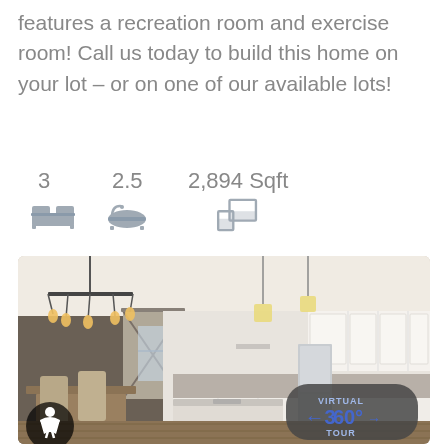features a recreation room and exercise room! Call us today to build this home on your lot – or on one of our available lots!
3 bedrooms, 2.5 bathrooms, 2,894 Sqft
[Figure (photo): Interior photo of a modern open-concept kitchen with white cabinets, island with granite countertop, barn door, chandelier, and pendant lights. A 'Virtual 360 Tour' badge is overlaid in the bottom right corner, and an accessibility icon appears in the bottom left.]